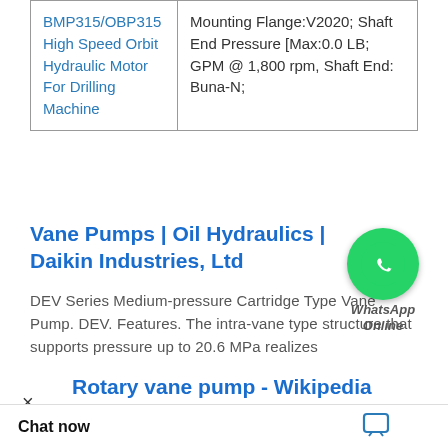| Product Name | Description |
| --- | --- |
| BMP315/OBP315 High Speed Orbit Hydraulic Motor For Drilling Machine | Mounting Flange:V2020; Shaft End Pressure [Max:0.0 LB; GPM @ 1,800 rpm, Shaft End: Buna-N; |
Vane Pumps | Oil Hydraulics | Daikin Industries, Ltd
DEV Series Medium-pressure Cartridge Type Vane Pump. DEV. Features. The intra-vane type structure that supports pressure up to 20.6 MPa realizes
[Figure (other): WhatsApp Online badge — green circle with phone handset icon, text 'WhatsApp Online']
Rotary vane pump - Wikipedia
ary vane pump is a positive-displacement pump that consists of vanes mounted to a rotor that rotates inside a cavity. In some cases these and/or be with the walls as ted by Charles C
Chat now